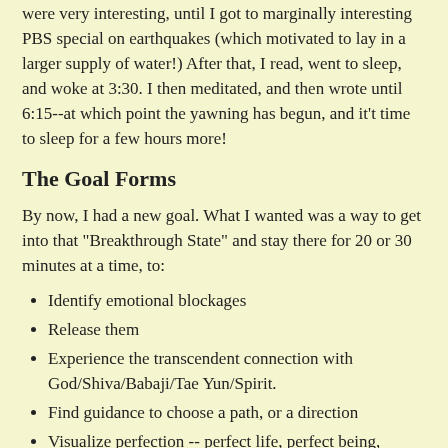were very interesting, until I got to marginally interesting PBS special on earthquakes (which motivated to lay in a larger supply of water!) After that, I read, went to sleep, and woke at 3:30. I then meditated, and then wrote until 6:15--at which point the yawning has begun, and it't time to sleep for a few hours more!
The Goal Forms
By now, I had a new goal. What I wanted was a way to get into that "Breakthrough State" and stay there for 20 or 30 minutes at a time, to:
Identify emotional blockages
Release them
Experience the transcendent connection with God/Shiva/Babaji/Tae Yun/Spirit.
Find guidance to choose a path, or a direction
Visualize perfection -- perfect life, perfect being, perfect companion
Manifest that reality
Being "Really Positive" (and calm, and peaceful, and..)